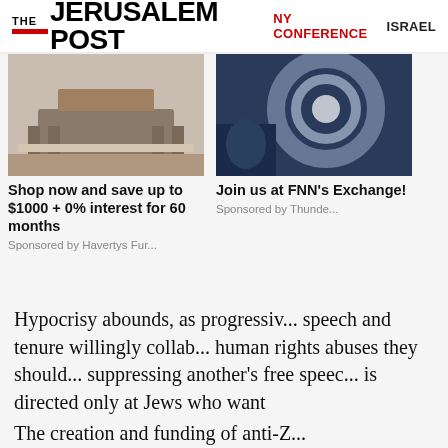THE JERUSALEM POST | NY CONFERENCE | ISRAEL
[Figure (photo): Photo of a dining room set with table and chairs on a rug]
Shop now and save up to $1000 + 0% interest for 60 months
Sponsored by Havertys Fur...
[Figure (photo): Photo with a glowing swirling light effect with a person in background]
Join us at FNN's Exchange!
Sponsored by Thunde...
Hypocrisy abounds, as progressiv... speech and tenure willingly collab... human rights abuses they should... suppressing another's free speech... is directed only at Jews who want
The creation and funding of anti-Z...